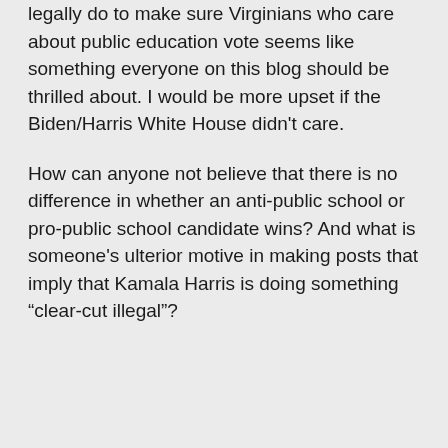legally do to make sure Virginians who care about public education vote seems like something everyone on this blog should be thrilled about. I would be more upset if the Biden/Harris White House didn't care.
How can anyone not believe that there is no difference in whether an anti-public school or pro-public school candidate wins? And what is someone's ulterior motive in making posts that imply that Kamala Harris is doing something “clear-cut illegal”?